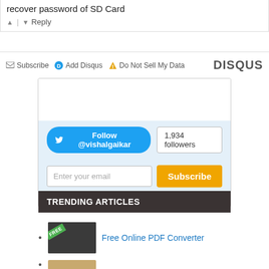recover password of SD Card
↑ | ↓ Reply
✉ Subscribe  D Add Disqus  ⚠ Do Not Sell My Data   DISQUS
[Figure (screenshot): Twitter follow widget with Follow @vishalgaikar button and 1,934 followers badge, plus email subscribe form with orange Subscribe button]
TRENDING ARTICLES
Free Online PDF Converter
[Figure (photo): Thumbnail image partially visible at bottom]